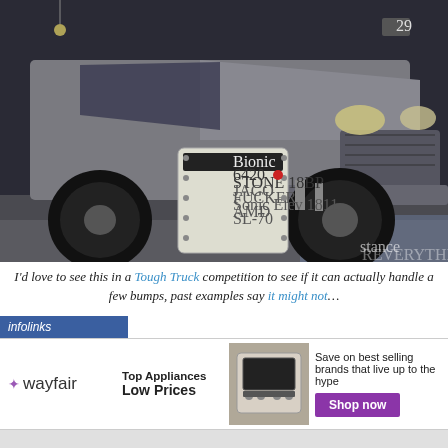[Figure (photo): Large lifted grey/silver pickup truck (Dodge Ram) on display at an auto/truck show, shot from front-left angle. A Bionic product placard is visible in the foreground near the front bumper. Watermark 'stance' in lower right corner.]
I'd love to see this in a Tough Truck competition to see if it can actually handle a few bumps, past examples say it might not…
[Figure (infographic): infolinks advertisement bar banner in blue, followed by a Wayfair ad: 'Top Appliances Low Prices' with appliance image and 'Shop now' purple button, text 'Save on best selling brands that live up to the hype']